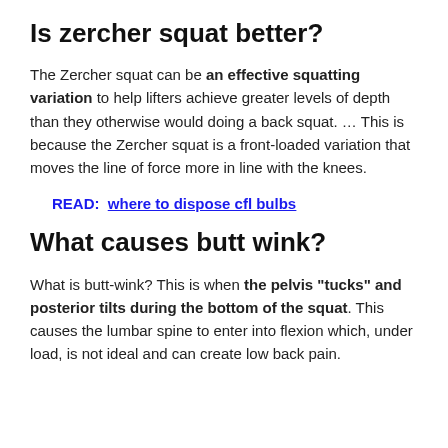Is zercher squat better?
The Zercher squat can be an effective squatting variation to help lifters achieve greater levels of depth than they otherwise would doing a back squat. … This is because the Zercher squat is a front-loaded variation that moves the line of force more in line with the knees.
READ:  where to dispose cfl bulbs
What causes butt wink?
What is butt-wink? This is when the pelvis "tucks" and posterior tilts during the bottom of the squat. This causes the lumbar spine to enter into flexion which, under load, is not ideal and can create low back pain.